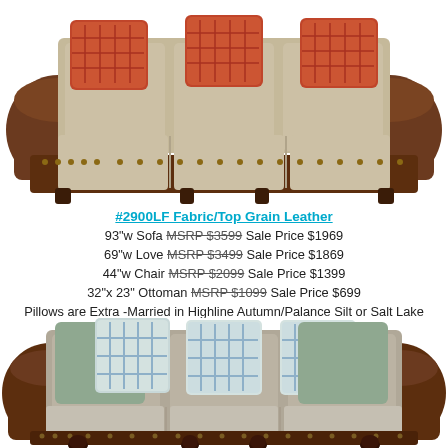[Figure (photo): Brown leather and fabric sofa with orange/red ikat throw pillows, roll arms with nail head trim, three cushion seats, viewed from front]
#2900LF Fabric/Top Grain Leather
93"w Sofa MSRP $3599 Sale Price $1969
69"w Love MSRP $3499 Sale Price $1869
44"w Chair MSRP $2099 Sale Price $1399
32"x 23" Ottoman MSRP $1099 Sale Price $699
Pillows are Extra -Married in Highline Autumn/Palance Silt or Salt Lake Moss/Ruidoso Chaps on Sale
[Figure (photo): Brown leather and grey fabric sofa with blue/cream ikat throw pillows and sage green pillows, roll arms with nail head trim, three cushion seats, bun feet, viewed from front angle]